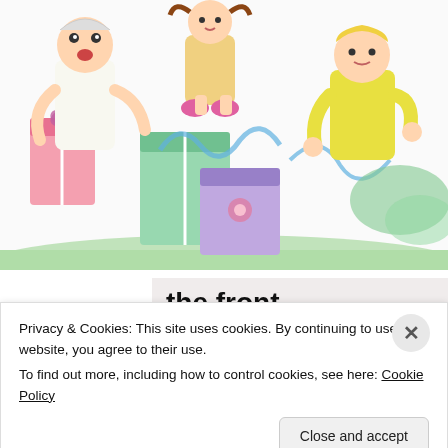[Figure (illustration): Colorful cartoon illustration of children opening presents/gifts, with gift boxes, ribbons, and tissue paper. Characters shown from mid-body down, in a chaotic unwrapping scene.]
the front...
[Figure (infographic): Colorful banner with gradient background (orange to pink to purple) with circular blob shapes, containing the text 'WordPress in the back.' in large serif bold font.]
Privacy & Cookies: This site uses cookies. By continuing to use this website, you agree to their use.
To find out more, including how to control cookies, see here: Cookie Policy
Close and accept